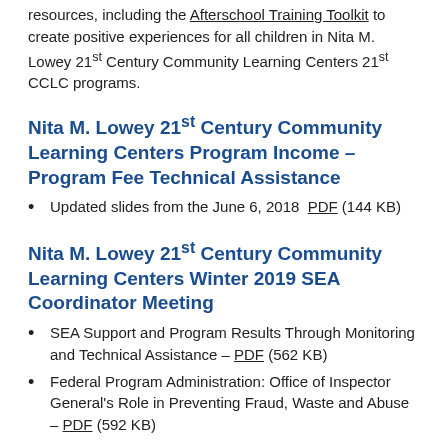resources, including the Afterschool Training Toolkit to create positive experiences for all children in Nita M. Lowey 21st Century Community Learning Centers 21st CCLC programs.
Nita M. Lowey 21st Century Community Learning Centers Program Income – Program Fee Technical Assistance
Updated slides from the June 6, 2018  PDF (144 KB)
Nita M. Lowey 21st Century Community Learning Centers Winter 2019 SEA Coordinator Meeting
SEA Support and Program Results Through Monitoring and Technical Assistance – PDF (562 KB)
Federal Program Administration: Office of Inspector General's Role in Preventing Fraud, Waste and Abuse – PDF (592 KB)
Nita M. Lowey 21st Century Community